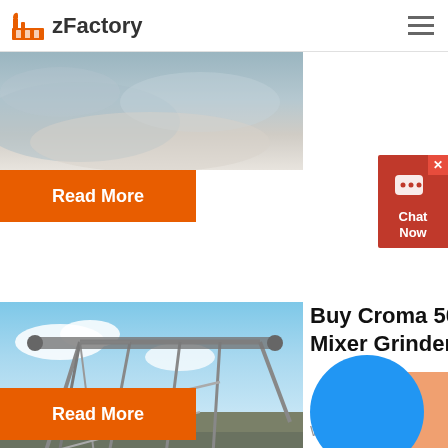zFactory
[Figure (photo): Aerial or landscape photo showing light-colored terrain or quarry material, grayish-white tones]
Read More
[Figure (screenshot): Chat Now widget with message bubble icon, red background]
[Figure (photo): Industrial conveyor belt and steel structure facility under blue sky with clouds]
Buy Croma 500 Watts 3 Jars Mixer Grinder (Rust Resistant
Why buy Croma 500 Watts 3 Jars ...
Read More